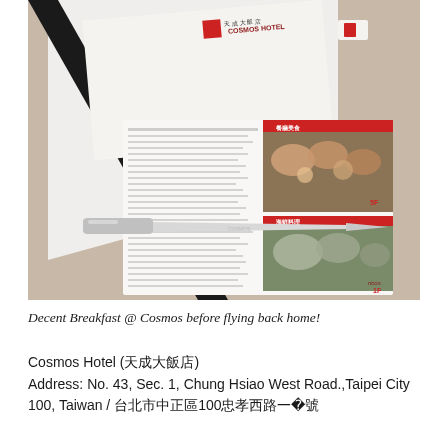[Figure (photo): Photo of a hotel restaurant breakfast setup showing a menu/brochure from Cosmos Hotel with food images including dim sum and seafood dishes, a letter opener/knife placed across the menu, and chopsticks visible. The menu has Chinese text and colorful food photography.]
Decent Breakfast @ Cosmos before flying back home!
Cosmos Hotel (天成大飯店)
Address: No. 43, Sec. 1, Chung Hsiao West Road.,Taipei City 100, Taiwan / 台北市中正區100忠孝西路一段43號